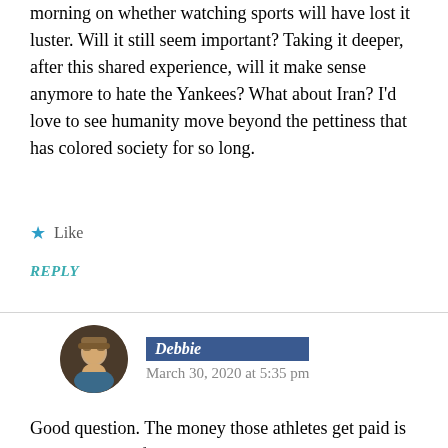morning on whether watching sports will have lost it luster. Will it still seem important? Taking it deeper, after this shared experience, will it make sense anymore to hate the Yankees? What about Iran? I'd love to see humanity move beyond the pettiness that has colored society for so long.
★ Like
REPLY
Debbie — March 30, 2020 at 5:35 pm
Good question. The money those athletes get paid is another piece of that we might consider.
★ Liked by 1 person